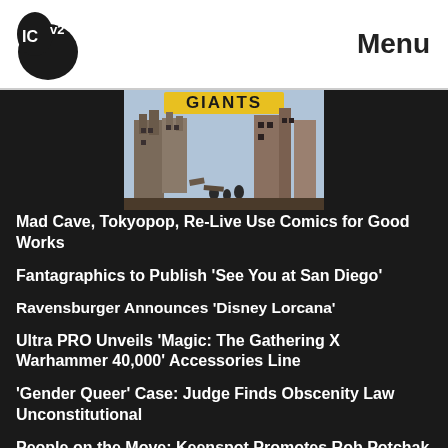ICv2 | Menu
[Figure (illustration): Comic book cover image showing ruins/destroyed buildings with figures, text 'GIANTS' visible in yellow at top]
Mad Cave, Tokyopop, Re-Live Use Comics for Good Works
Fantagraphics to Publish 'See You at San Diego'
Ravensburger Announces 'Disney Lorcana'
Ultra PRO Unveils 'Magic: The Gathering X Warhammer 40,000' Accessories Line
'Gender Queer' Case: Judge Finds Obscenity Law Unconstitutional
People on the Move: Keenspot Promotes Rob Potchak to Associate Editor